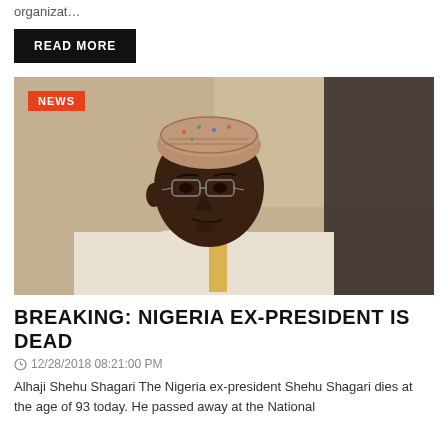organizat…
READ MORE
[Figure (photo): An elderly Nigerian man wearing a traditional embroidered cap and white garment, looking downward with glasses on, photographed in a formal setting.]
NEWS
BREAKING: NIGERIA EX-PRESIDENT IS DEAD
⊙ 12/28/2018 08:21:00 PM
Alhaji Shehu Shagari The Nigeria ex-president Shehu Shagari dies at the age of 93 today. He passed away at the National